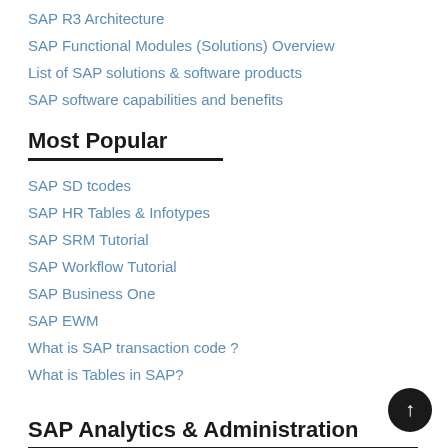SAP R3 Architecture
SAP Functional Modules (Solutions) Overview
List of SAP solutions & software products
SAP software capabilities and benefits
Most Popular
SAP SD tcodes
SAP HR Tables & Infotypes
SAP SRM Tutorial
SAP Workflow Tutorial
SAP Business One
SAP EWM
What is SAP transaction code ?
What is Tables in SAP?
SAP Analytics & Administration